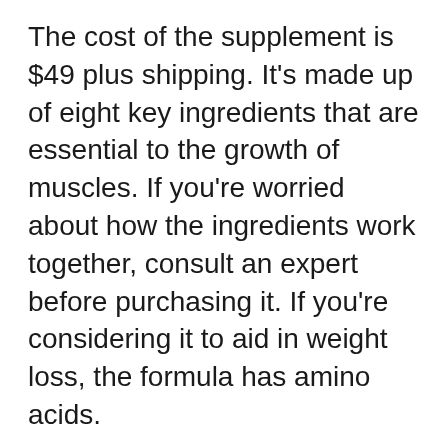The cost of the supplement is $49 plus shipping. It's made up of eight key ingredients that are essential to the growth of muscles. If you're worried about how the ingredients work together, consult an expert before purchasing it. If you're considering it to aid in weight loss, the formula has amino acids.
Resurge is a fantastic product to help you lose body fat in the morning. It works by increasing GABA and serotonin levels of neurotransmitters, which can affect your mood and your ability to sleep. This supplement is not an sedative. Instead, it assists your body recover itself through sleep. There are no side effects with Resurge. The manufacturer is dedicated to